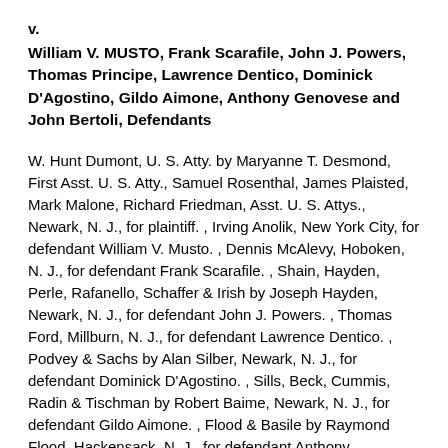v.
William V. MUSTO, Frank Scarafile, John J. Powers, Thomas Principe, Lawrence Dentico, Dominick D'Agostino, Gildo Aimone, Anthony Genovese and John Bertoli, Defendants
W. Hunt Dumont, U. S. Atty. by Maryanne T. Desmond, First Asst. U. S. Atty., Samuel Rosenthal, James Plaisted, Mark Malone, Richard Friedman, Asst. U. S. Attys., Newark, N. J., for plaintiff. , Irving Anolik, New York City, for defendant William V. Musto. , Dennis McAlevy, Hoboken, N. J., for defendant Frank Scarafile. , Shain, Hayden, Perle, Rafanello, Schaffer & Irish by Joseph Hayden, Newark, N. J., for defendant John J. Powers. , Thomas Ford, Millburn, N. J., for defendant Lawrence Dentico. , Podvey & Sachs by Alan Silber, Newark, N. J., for defendant Dominick D'Agostino. , Sills, Beck, Cummis, Radin & Tischman by Robert Baime, Newark, N. J., for defendant Gildo Aimone. , Flood & Basile by Raymond Flood, Hackensack, N. J., for defendant Anthony Genovese. , Robinson, Wayne & Greenberg by Jack Arseneault, Newark, N. J., for defendant